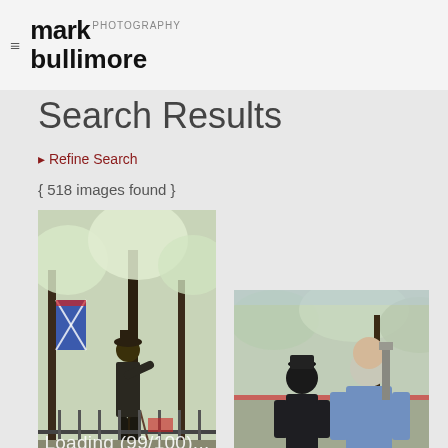mark bullimore photography
Search Results
▸ Refine Search
{ 518 images found }
[Figure (photo): Man standing at Speakers Corner with Australian flag and cane, trees in background. Filename: speakers corner_06.jpg. Loading overlay text: Loading (99/100)...]
speakers corner_06.jpg
[Figure (photo): Two men seen from behind at Speakers Corner, one in dark jacket with cap, one in light blue jacket. Filename: speakers corner_05.jpg]
speakers corner_05.jpg